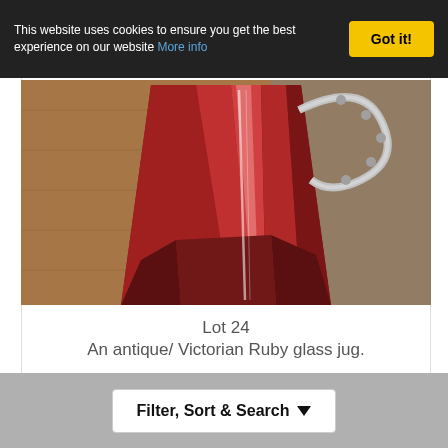This website uses cookies to ensure you get the best experience on our website More info
Got it!
[Figure (photo): A close-up photograph of an antique Victorian ruby red glass jug with a decorative silver handle, photographed from below showing the geometric faceted body. The jug has a deep cranberry/ruby red colour with reflective highlights. Background shows a wooden surface.]
Lot 24
An antique/ Victorian Ruby glass jug.
Hammer £20
Fees
Filter, Sort & Search